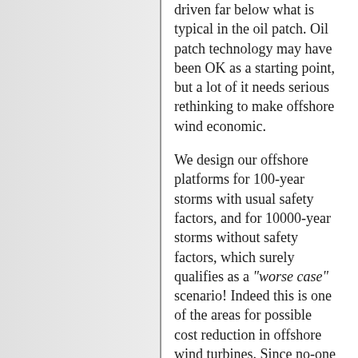driven far below what is typical in the oil patch. Oil patch technology may have been OK as a starting point, but a lot of it needs serious rethinking to make offshore wind economic.
We design our offshore platforms for 100-year storms with usual safety factors, and for 10000-year storms without safety factors, which surely qualifies as a "worse case" scenario! Indeed this is one of the areas for possible cost reduction in offshore wind turbines. Since no-one is on board